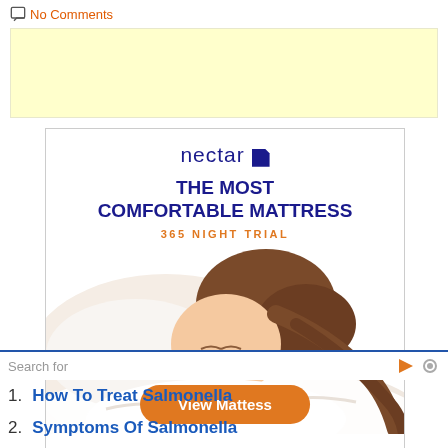No Comments
[Figure (other): Yellow advertisement banner placeholder]
[Figure (other): Nectar mattress advertisement showing: nectar logo, text 'THE MOST COMFORTABLE MATTRESS', '365 NIGHT TRIAL', sleeping woman image, and orange 'View Mattess' button]
Search for
1. How To Treat Salmonella
2. Symptoms Of Salmonella